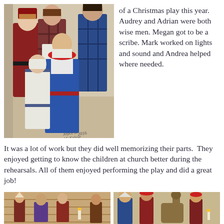[Figure (photo): Group photo of five children and teens in Christmas play costumes including wise men robes, blue tunics, and white dress. A signature and '2016' appears at bottom right of photo.]
of a Christmas play this year. Audrey and Adrian were both wise men. Megan got to be a scribe. Mark worked on lights and sound and Andrea helped where needed.
It was a lot of work but they did well memorizing their parts.  They enjoyed getting to know the children at church better during the rehearsals. All of them enjoyed performing the play and did a great job!
[Figure (photo): Photo of children performing in the Christmas play on stage with wooden backdrop.]
[Figure (photo): Photo of more children in costume during the Christmas play performance.]